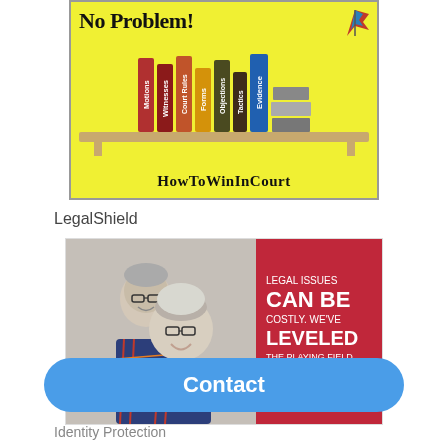[Figure (illustration): HowToWinInCourt advertisement showing books on a shelf with titles: Motions, Witnesses, Court Rules, Forms, Objections, Tactics, Evidence, and stacked books, on yellow background with text 'No Problem!' and 'HowToWinInCourt']
LegalShield
[Figure (illustration): LegalShield advertisement showing two smiling elderly people (man with glasses and woman with glasses) on the left, and a red panel on the right with text: LEGAL ISSUES CAN BE COSTLY. WE'VE LEVELED THE PLAYING FIELD. LegalShield logo at bottom]
Contact
Identity Protection